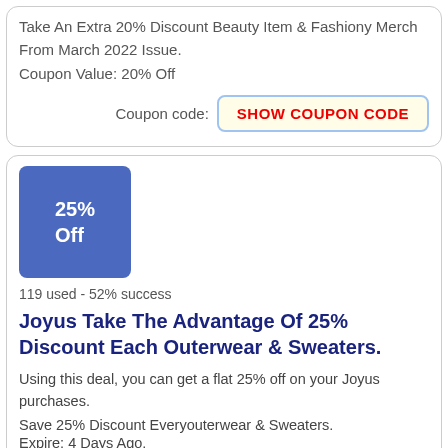Take An Extra 20% Discount Beauty Item & Fashiony Merch From March 2022 Issue.
Coupon Value: 20% Off
Coupon code: SHOW COUPON CODE
[Figure (infographic): Blue square badge showing '25% Off']
119 used - 52% success
Joyus Take The Advantage Of 25% Discount Each Outerwear & Sweaters.
Using this deal, you can get a flat 25% off on your Joyus purchases.
Save 25% Discount Everyouterwear & Sweaters.
Expire: 4 Days Ago.